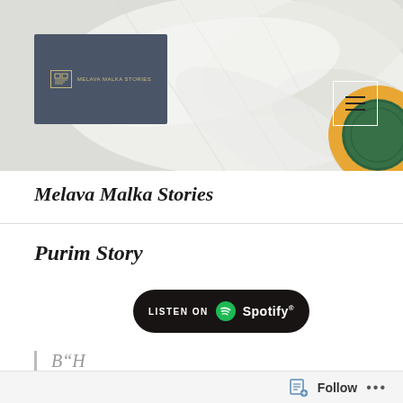[Figure (screenshot): Website header banner with a white daisy/flower photograph background, a dark slate-colored card overlay on the left with a small icon and text reading 'Melava Malka Stories', and a hamburger menu icon (three horizontal lines) in a white outlined square on the right.]
Melava Malka Stories
Purim Story
[Figure (logo): Listen on Spotify button — black rounded rectangle with 'LISTEN ON' in small caps and the Spotify logo (circular green icon with sound wave lines) followed by 'Spotify' in white text.]
B"H
Follow   ...